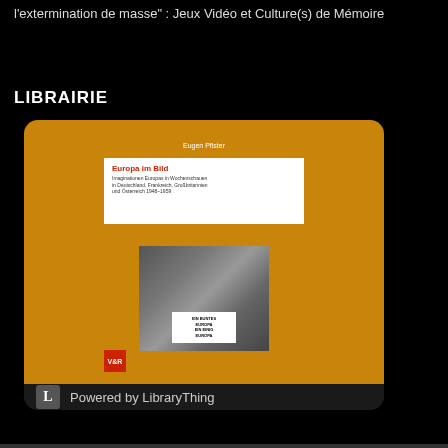l'extermination de masse" : Jeux Vidéo et Culture(s) de Mémoire
LIBRAIRIE
[Figure (illustration): Book cover widget showing 'Europa im Bild' by Eugen Pfister, published by V&R. Orange cover with white title section and black-and-white photograph. Widget powered by LibraryThing.]